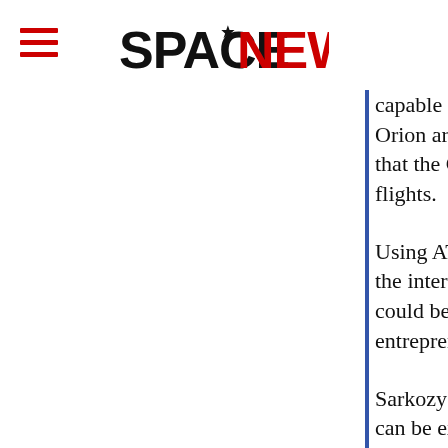SpaceNews
capable of providing transportation to the space station before Ares and Orion are ready in the middle of the decade. However, it is highly unlikely that the COTS competitors will be available in time to reliably execute flights.
Using ATV in a commercial way in addition to the role it will play as part of the intergovernmental agreement that governs the space station partnership could be the commercial solution, a bridge between the shuttle and a more entrepreneurial approach to space transportation.
Sarkozy's renewed emphasis on entrepreneurship – after the French word – can be extended to space and France can embrace the support of entrepreneurs and perhaps